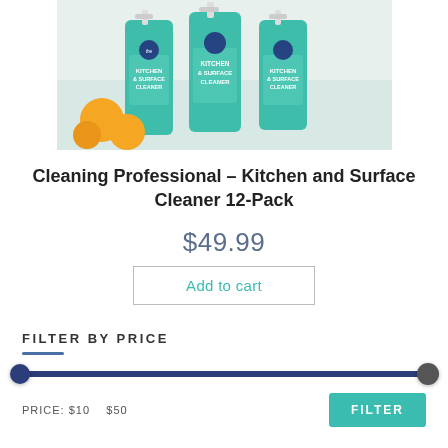[Figure (photo): Three green spray bottles of Kitchen and Surface Cleaner with The Clean Co branding, alongside oranges on a light countertop background.]
Cleaning Professional – Kitchen and Surface Cleaner 12-Pack
$49.99
Add to cart
Filter By Price
PRICE: $10 — $50